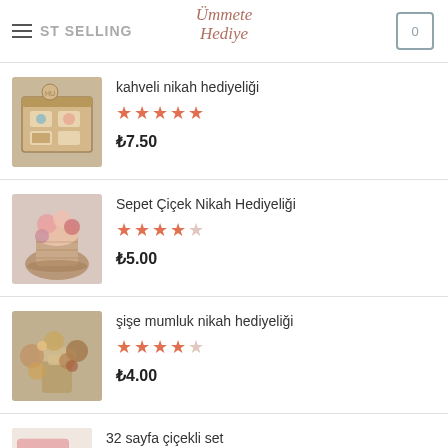ST SELLING — Ümmete Hediye — Cart: 0
[Figure (photo): Wooden tray gift box with decorative items]
kahveli nikah hediyeliği
★★★★★ ₺7.50
[Figure (photo): Basket with flower arrangement nikah gift]
Sepet Çiçek Nikah Hediyeliği
★★★★☆ ₺5.00
[Figure (photo): Dried flowers bottle candle holder nikah gift]
şişe mumluk nikah hediyeliği
★★★★☆ ₺4.00
[Figure (photo): 32 page floral set product image]
32 sayfa çiçekli set
★★★★½ ₺4.50